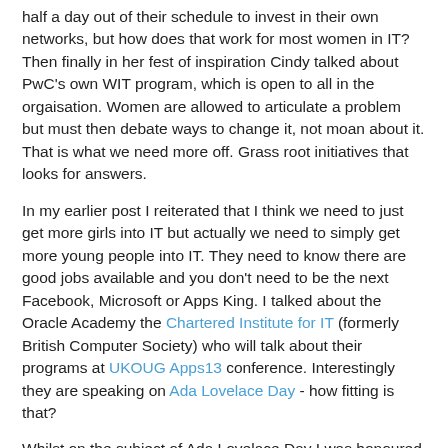half a day out of their schedule to invest in their own networks, but how does that work for most women in IT? Then finally in her fest of inspiration Cindy talked about PwC's own WIT program, which is open to all in the orgaisation. Women are allowed to articulate a problem but must then debate ways to change it, not moan about it. That is what we need more off. Grass root initiatives that looks for answers.
In my earlier post I reiterated that I think we need to just get more girls into IT but actually we need to simply get more young people into IT. They need to know there are good jobs available and you don't need to be the next Facebook, Microsoft or Apps King. I talked about the Oracle Academy the Chartered Institute for IT (formerly British Computer Society) who will talk about their programs at UKOUG Apps13 conference. Interestingly they are speaking on Ada Lovelace Day - how fitting is that?
Whilst on the subject of Ada Lovelace Day I was honoured to be included in a list of Inspiring Women in STEM by a real inspiration to me Meg Bear.